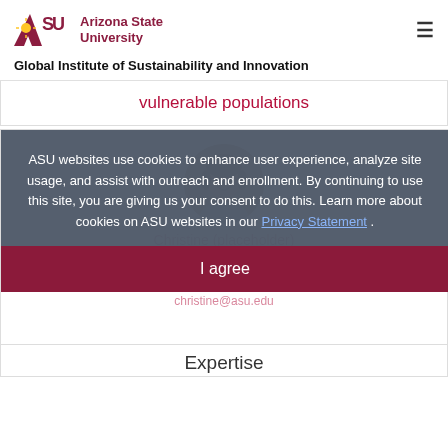Arizona State University – Global Institute of Sustainability and Innovation
vulnerable populations
[Figure (photo): Circular profile photo of a woman smiling, with brown hair, against a neutral background]
ASU websites use cookies to enhance user experience, analyze site usage, and assist with outreach and enrollment. By continuing to use this site, you are giving us your consent to do this. Learn more about cookies on ASU websites in our Privacy Statement .
I agree
christine@asu.edu
Expertise